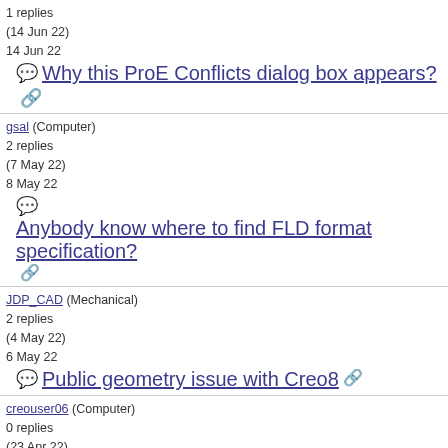1 replies
(14 Jun 22)
14 Jun 22
Why this ProE Conflicts dialog box appears?
gsal (Computer)
2 replies
(7 May 22)
8 May 22
Anybody know where to find FLD format specification?
JDP_CAD (Mechanical)
2 replies
(4 May 22)
6 May 22
Public geometry issue with Creo8
creouser06 (Computer)
0 replies
(23 Apr 22)
23 Apr 22
PDM link 10.0 bulk extraction
Ard88 (Mechanical)
0 replies